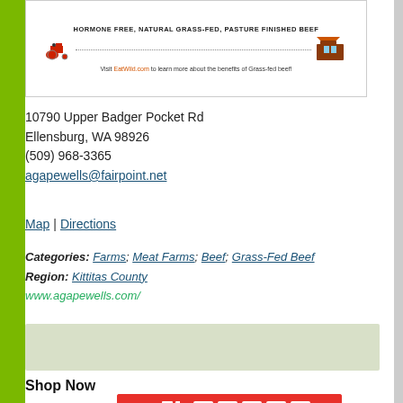[Figure (illustration): Hormone free, natural grass-fed, pasture finished beef banner with tractor image and EatWild.com link]
10790 Upper Badger Pocket Rd
Ellensburg, WA 98926
(509) 968-3365
agapewells@fairpoint.net
Map | Directions
Categories: Farms; Meat Farms; Beef; Grass-Fed Beef
Region: Kittitas County
www.agapewells.com/
[Figure (other): Advertisement banner (light green/grey background)]
Shop Now
[Figure (photo): YumEarth organic pops favorites product image]
[Figure (photo): Orgain Organic Protein powder product image]